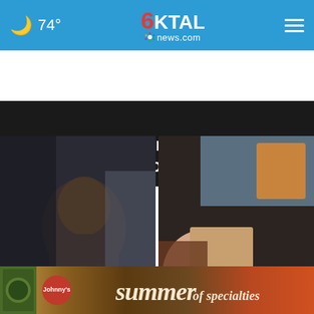🌙 74° | 6KTAL news.com
$5M federal program to fund Arkansas abandoned gas ...
[Figure (photo): Two people in dark setting - Bossier Crime Stoppers story image]
Bossier Crime Stoppers asking for help identifying ...
[Figure (photo): Person holding Starbucks bag - Starbucks menu item story image]
The Starbucks menu item we can't get enough of ...
[Figure (photo): Johnny's Summer Specialties advertisement banner with pizzas]